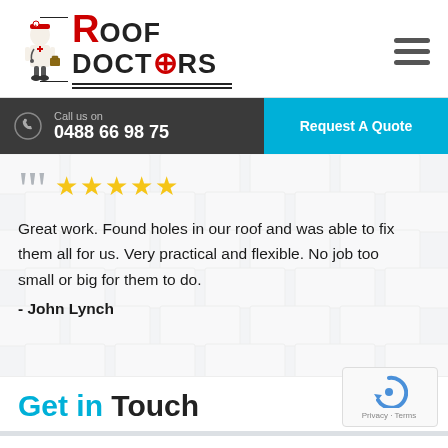[Figure (logo): Roof Doctors logo with cartoon doctor figure and company name in bold text, with red R and red O in Doctors]
Call us on
0488 66 98 75
Request A Quote
““ ★★★★★
Great work. Found holes in our roof and was able to fix them all for us. Very practical and flexible. No job too small or big for them to do.
- John Lynch
Get in Touch